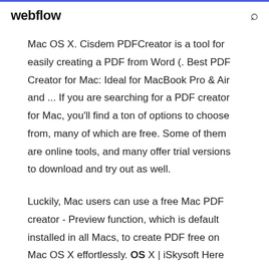webflow
Mac OS X. Cisdem PDFCreator is a tool for easily creating a PDF from Word (. Best PDF Creator for Mac: Ideal for MacBook Pro & Air and ... If you are searching for a PDF creator for Mac, you'll find a ton of options to choose from, many of which are free. Some of them are online tools, and many offer trial versions to download and try out as well.
Luckily, Mac users can use a free Mac PDF creator - Preview function, which is default installed in all Macs, to create PDF free on Mac OS X effortlessly. OS X | iSkysoft Here you will get various tips about Mac OS X 10.6 and later,